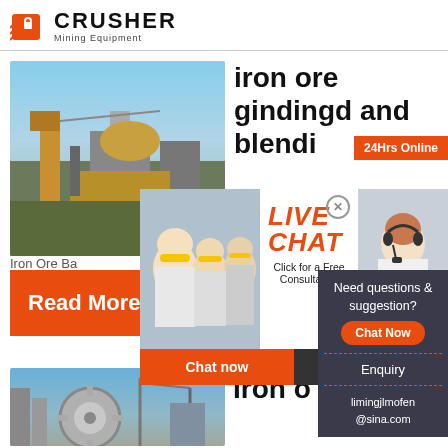[Figure (logo): Crusher Mining Equipment logo with red shopping bag icon and bold CRUSHER text]
[Figure (photo): Mining equipment/crusher facility outdoor photo with yellow machinery]
iron ore gindingd and blendi
[Figure (infographic): Live Chat popup overlay with workers in hard hats, LIVE CHAT heading in orange italic, 'Click for a Free Consultation' subtitle, Chat now and Chat later buttons, agent with headset photo, 24Hrs Online badge]
Iron Ore Ba
Read More
[Figure (infographic): Sidebar widget with dark background: Need questions & suggestion? Chat Now button, Enquiry link, limingjlmofen@sina.com email]
[Figure (photo): Second mining/factory photo at bottom left]
Iron o